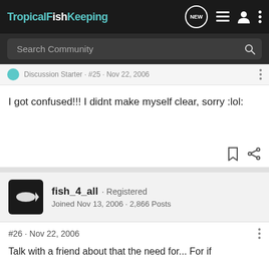TropicalFishKeeping
Search Community
Discussion Starter · #25 · Nov 22, 2006
I got confused!!! I didnt make myself clear, sorry :lol:
fish_4_all · Registered
Joined Nov 13, 2006 · 2,866 Posts
#26 · Nov 22, 2006
Talk with a friend about that the need for... For if